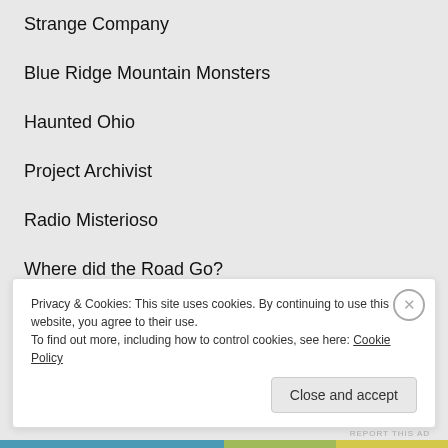Strange Company
Blue Ridge Mountain Monsters
Haunted Ohio
Project Archivist
Radio Misterioso
Where did the Road Go?
Privacy & Cookies: This site uses cookies. By continuing to use this website, you agree to their use.
To find out more, including how to control cookies, see here: Cookie Policy
Close and accept